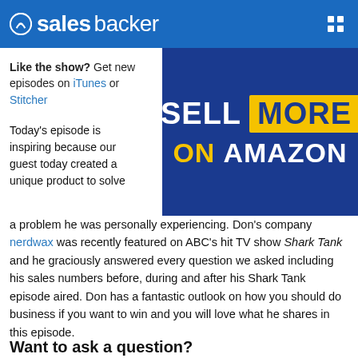salesbacker
Like the show? Get new episodes on iTunes or Stitcher
[Figure (illustration): Blue promotional banner with text 'SELL MORE ON AMAZON' where MORE is in a yellow box]
Today's episode is inspiring because our guest today created a unique product to solve a problem he was personally experiencing. Don's company nerdwax was recently featured on ABC's hit TV show Shark Tank and he graciously answered every question we asked including his sales numbers before, during and after his Shark Tank episode aired. Don has a fantastic outlook on how you should do business if you want to win and you will love what he shares in this episode.
Want to ask a question?